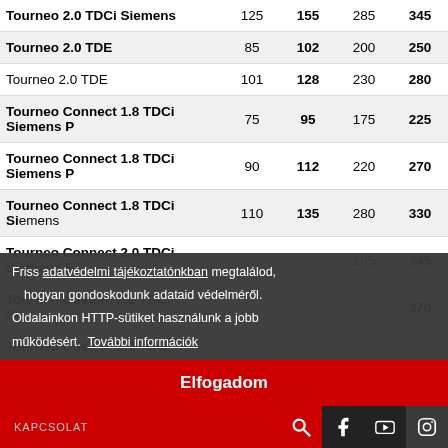| Model | kW | LE | Nm | Nm (boost) |
| --- | --- | --- | --- | --- |
| Tourneo 2.0 TDCi Siemens | 125 | 155 | 285 | 345 |
| Tourneo 2.0 TDE | 85 | 102 | 200 | 250 |
| Tourneo 2.0 TDE | 101 | 128 | 230 | 280 |
| Tourneo Connect 1.8 TDCi Siemens P | 75 | 95 | 175 | 225 |
| Tourneo Connect 1.8 TDCi Siemens P | 90 | 112 | 220 | 270 |
| Tourneo Connect 1.8 TDCi Siemens | 110 | 135 | 280 | 330 |
| Tourneo Connect 2.0 TDCi Siemens F |  |  | 285 | 345 |
| Tourneo Custom 2.2 TDCi Siemens |  |  |  | 370 |
| Tourneo Custom 2.2 TDCi |  |  |  |  |
Friss adatvédelmi tájékoztatónkban megtalálod, hogyan gondoskodunk adataid védelméről. Oldalainkon HTTP-sütiket használunk a jobb működésért. További információk
Elfogadom
KAPCSOLAT